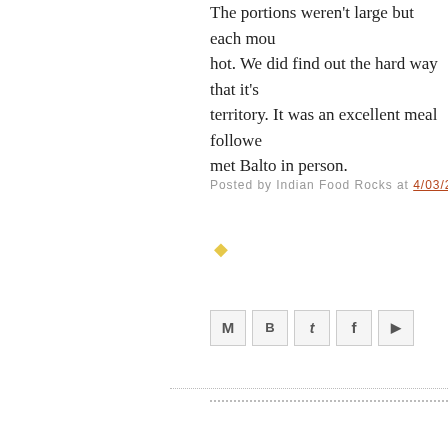The portions weren't large but each mouthful was piping hot. We did find out the hard way that it's uncharted territory. It was an excellent meal followed by us having met Balto in person.
Posted by Indian Food Rocks at 4/03/20
[Figure (screenshot): Social sharing icons: Email (M), BlogThis! (B), Twitter (t), Facebook (f), Pinterest (pin)]
Newer Posts
Subscribe to: Posts (Atom)